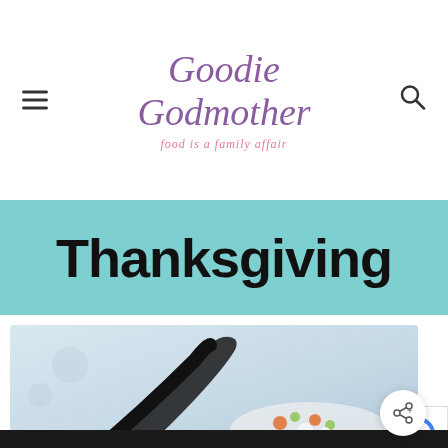Goodie Godmother — food is a family affair
Thanksgiving
[Figure (photo): Partial view of a food photograph showing a plate with vegetables and a dark utensil, on a light blue-gray background. Share button overlay and reCAPTCHA badge visible.]